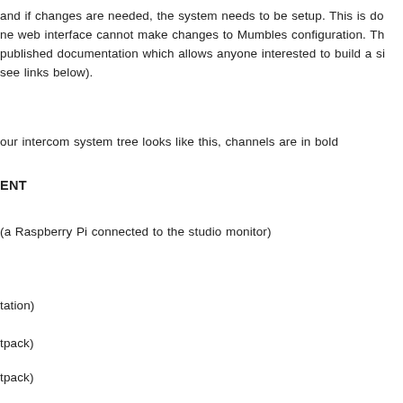and if changes are needed, the system needs to be setup. This is do ne web interface cannot make changes to Mumbles configuration. Th published documentation which allows anyone interested to build a si see links below).
our intercom system tree looks like this, channels are in bold
ENT
(a Raspberry Pi connected to the studio monitor)
tation)
tpack)
tpack)